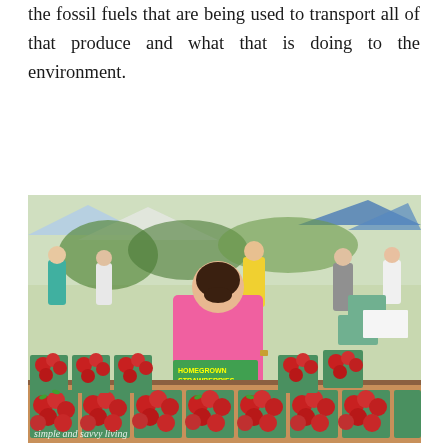the fossil fuels that are being used to transport all of that produce and what that is doing to the environment.
[Figure (photo): A woman in a pink t-shirt standing behind a table covered with green baskets of fresh strawberries at an outdoor farmers market. A sign reads 'HOMEGROWN STRAWBERRIES'. There are other market stalls and shoppers visible in the background. A watermark reads 'simple and savvy living' in the bottom left corner.]